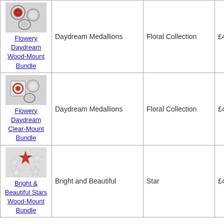| Product Image / Name | Product Name | Category | Price |
| --- | --- | --- | --- |
| Flowery Daydream Wood-Mount Bundle | Daydream Medallions | Floral Collection | £4... |
| Flowery Daydream Clear-Mount Bundle | Daydream Medallions | Floral Collection | £4... |
| Bright & Beautiful Stars Wood-Mount Bundle | Bright and Beautiful | Star | £4... |